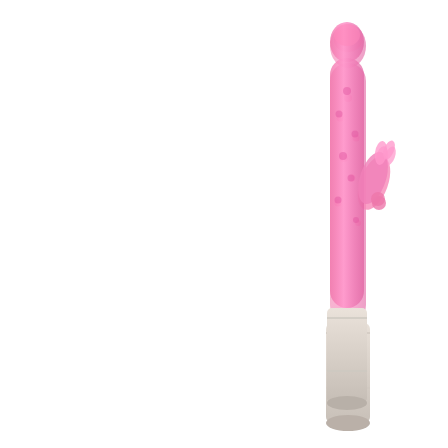[Figure (photo): Pink rabbit vibrator product photo on white background]
$28.49
Me You Us Powerslide Rabbit Vibrator - Pink
[Figure (other): Add to cart button with shopping cart icon]
[Figure (photo): Pink rabbit vibrator second product, partially visible at bottom of page]